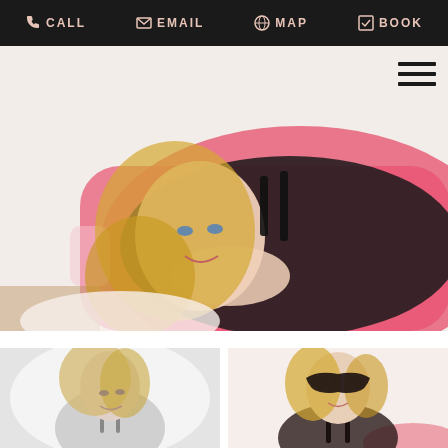CALL  EMAIL  MAP  BOOK
[Figure (photo): Blonde woman in black lingerie reclining on a bright pink tufted sofa/chair, photographed from above at an angle. Boudoir-style photography.]
[Figure (photo): Black and white boudoir photo of a blonde woman looking down, wearing lingerie with straps.]
[Figure (photo): Color boudoir photo of a blonde woman wearing a black lace masquerade mask and dark lingerie, seated on a bed with a pink pillow.]